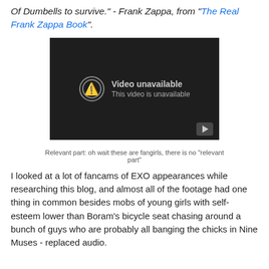Of Dumbells to survive." - Frank Zappa, from "The Real Frank Zappa Book".
[Figure (screenshot): Embedded YouTube video player showing 'Video unavailable - This video is unavailable' with a play button in the bottom right corner, dark background.]
Relevant part: oh wait these are fangirls, there is no "relevant part"
I looked at a lot of fancams of EXO appearances while researching this blog, and almost all of the footage had one thing in common besides mobs of young girls with self-esteem lower than Boram's bicycle seat chasing around a bunch of guys who are probably all banging the chicks in Nine Muses - replaced audio.